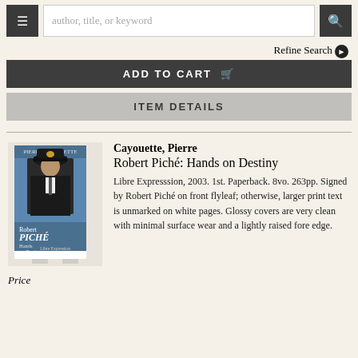author, title, or keyword [search bar]
Refine Search ❯
ADD TO CART 🛒
ITEM DETAILS
[Figure (photo): Book cover of Robert Piché: Hands on Destiny by Pierre Cayouette, showing a pilot in uniform against a blue sky background, displayed on a book stand]
Cayouette, Pierre
Robert Piché: Hands on Destiny

Libre Expresssion, 2003. 1st. Paperback. 8vo. 263pp. Signed by Robert Piché on front flyleaf; otherwise, larger print text is unmarked on white pages. Glossy covers are very clean with minimal surface wear and a lightly raised fore edge.
Price